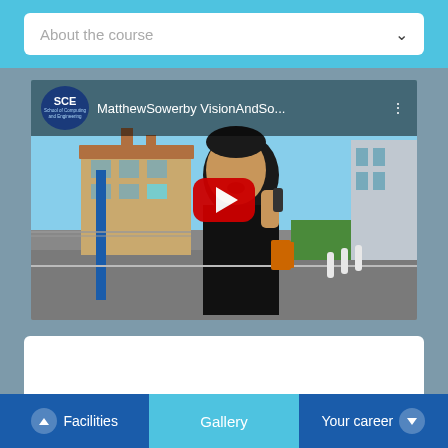About the course
[Figure (screenshot): YouTube video thumbnail showing a young man talking on a phone, with SCE (School of Computing and Engineering) logo and title 'MatthewSowerby VisionAndSo...' in the video top bar, and a YouTube play button overlay.]
Matthew Sowerby
Facilities  Gallery  Your career